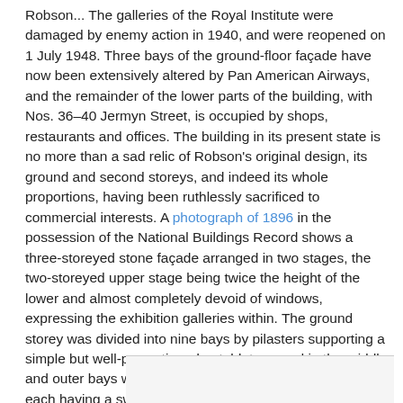Robson... The galleries of the Royal Institute were damaged by enemy action in 1940, and were reopened on 1 July 1948. Three bays of the ground-floor façade have now been extensively altered by Pan American Airways, and the remainder of the lower parts of the building, with Nos. 36–40 Jermyn Street, is occupied by shops, restaurants and offices. The building in its present state is no more than a sad relic of Robson's original design, its ground and second storeys, and indeed its whole proportions, having been ruthlessly sacrificed to commercial interests. A photograph of 1896 in the possession of the National Buildings Record shows a three-storeyed stone façade arranged in two stages, the two-storeyed upper stage being twice the height of the lower and almost completely devoid of windows, expressing the exhibition galleries within. The ground storey was divided into nine bays by pilasters supporting a simple but well-proportioned entablature, and in the middle and outer bays were three splendid Baroque doorways, each having a swan-neck pediment enclosed within a broken segmental pediment...'